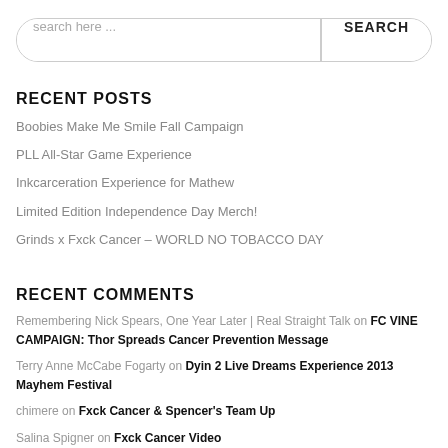[Figure (other): Search bar with text input 'search here ...' and a SEARCH button]
RECENT POSTS
Boobies Make Me Smile Fall Campaign
PLL All-Star Game Experience
Inkcarceration Experience for Mathew
Limited Edition Independence Day Merch!
Grinds x Fxck Cancer – WORLD NO TOBACCO DAY
RECENT COMMENTS
Remembering Nick Spears, One Year Later | Real Straight Talk on FC VINE CAMPAIGN: Thor Spreads Cancer Prevention Message
Terry Anne McCabe Fogarty on Dyin 2 Live Dreams Experience 2013 Mayhem Festival
chimere on Fxck Cancer & Spencer's Team Up
Salina Spigner on Fxck Cancer Video